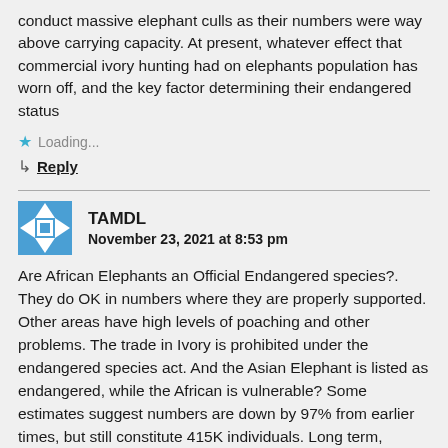conduct massive elephant culls as their numbers were way above carrying capacity. At present, whatever effect that commercial ivory hunting had on elephants population has worn off, and the key factor determining their endangered status
Loading...
Reply
TAMDL
November 23, 2021 at 8:53 pm
Are African Elephants an Official Endangered species?. They do OK in numbers where they are properly supported. Other areas have high levels of poaching and other problems. The trade in Ivory is prohibited under the endangered species act. And the Asian Elephant is listed as endangered, while the African is vulnerable? Some estimates suggest numbers are down by 97% from earlier times, but still constitute 415K individuals. Long term, habitat